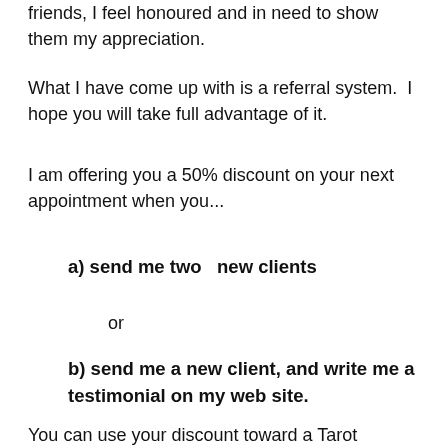friends, I feel honoured and in need to show them my appreciation.
What I have come up with is a referral system.  I hope you will take full advantage of it.
I am offering you a 50% discount on your next appointment when you...
a) send me two  new clients
or
b) send me a new client, and write me a testimonial on my web site.
You can use your discount toward a Tarot reading, or